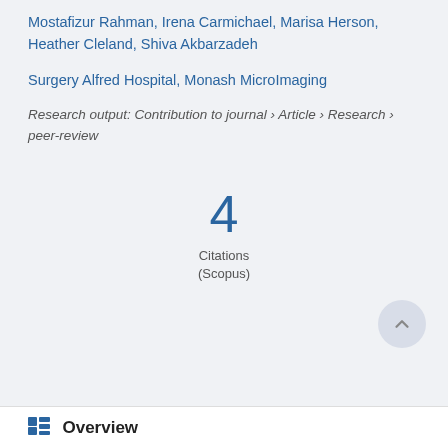Mostafizur Rahman, Irena Carmichael, Marisa Herson, Heather Cleland, Shiva Akbarzadeh
Surgery Alfred Hospital, Monash MicroImaging
Research output: Contribution to journal › Article › Research › peer-review
4
Citations
(Scopus)
Overview